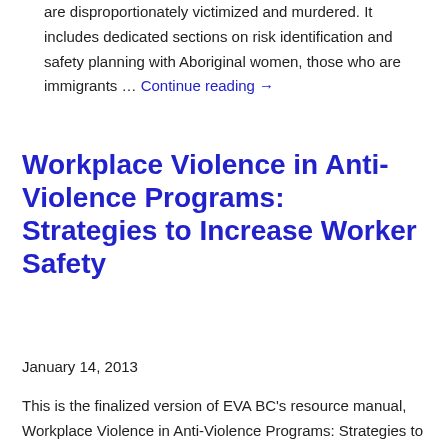are disproportionately victimized and murdered. It includes dedicated sections on risk identification and safety planning with Aboriginal women, those who are immigrants … Continue reading →
Workplace Violence in Anti-Violence Programs: Strategies to Increase Worker Safety
January 14, 2013
This is the finalized version of EVA BC's resource manual, Workplace Violence in Anti-Violence Programs: Strategies to Increase Worker Safety (January 2013).